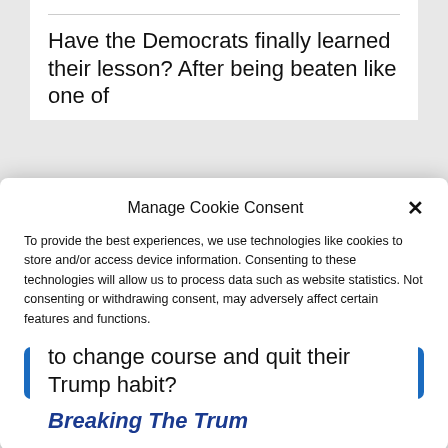Have the Democrats finally learned their lesson? After being beaten like one of
Manage Cookie Consent
To provide the best experiences, we use technologies like cookies to store and/or access device information. Consenting to these technologies will allow us to process data such as website statistics. Not consenting or withdrawing consent, may adversely affect certain features and functions.
Accept
Cookie Policy  Privacy Policy
to change course and quit their Trump habit?
Breaking The Trum...